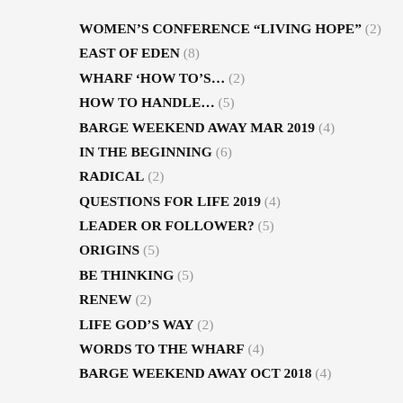WOMEN'S CONFERENCE “LIVING HOPE” (2)
EAST OF EDEN (8)
WHARF ‘HOW TO’S… (2)
HOW TO HANDLE… (5)
BARGE WEEKEND AWAY MAR 2019 (4)
IN THE BEGINNING (6)
RADICAL (2)
QUESTIONS FOR LIFE 2019 (4)
LEADER OR FOLLOWER? (5)
ORIGINS (5)
BE THINKING (5)
RENEW (2)
LIFE GOD'S WAY (2)
WORDS TO THE WHARF (4)
BARGE WEEKEND AWAY OCT 2018 (4)